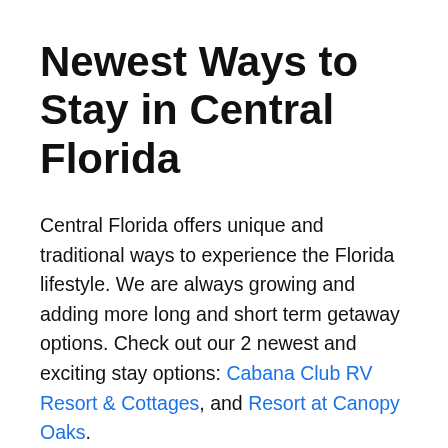Newest Ways to Stay in Central Florida
Central Florida offers unique and traditional ways to experience the Florida lifestyle. We are always growing and adding more long and short term getaway options. Check out our 2 newest and exciting stay options: Cabana Club RV Resort & Cottages, and Resort at Canopy Oaks.
Be at the center of it all while staying at Cabana Club in Auburndale, an exclusive RV and cottage resort. From a splash pad and arcade, to the putting course and community fire pits, Cabana Club offers amenities that will excite the whole family. Even your furry friends are welcome to explore the grounds and take a splash in the